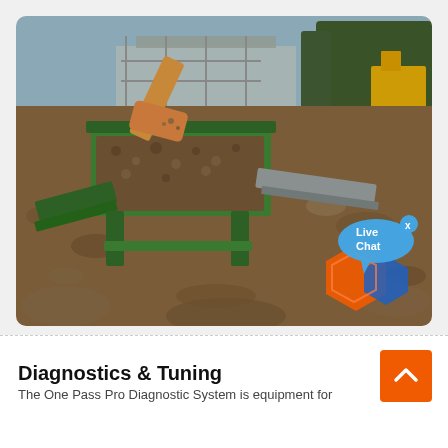[Figure (photo): Construction site photo showing a green soil screening/vibrating machine being loaded with dirt and rocks by an excavator bucket. Excavator and scaffolding visible in background. Live Chat bubble overlay visible in upper right of image. Orange and blue hexagonal logo overlay in lower right corner.]
Diagnostics & Tuning
The One Pass Pro Diagnostic System is equipment for...